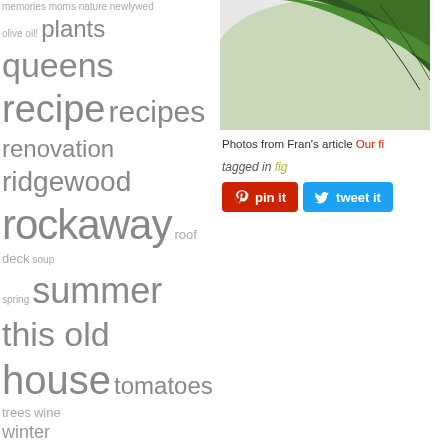memories moms nature newlywed olive oil! plants queens recipe recipes renovation ridgewood rockaway roof deck soup spring summer this old house tomatoes trees wine winter
i can't even! five. tomatoes.
[Figure (illustration): Sketch illustration of an open book or notebook with hatched shading in gray tones]
[Figure (illustration): Sketch of plant leaves and stems at the bottom of the left column]
[Figure (photo): Close-up photograph of a large green leaf against a white/light background, showing leaf texture and edge detail]
Photos from Fran's article Our fi
tagged in fig
[Figure (infographic): Social sharing buttons: red Pinterest 'pin it' button and blue Twitter 'tweet it' button]